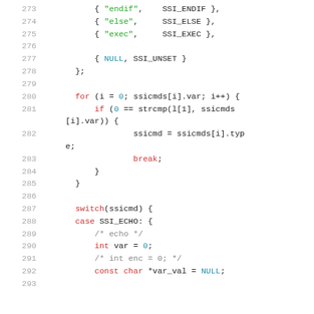[Figure (screenshot): Source code listing in C, lines 273-293, showing SSI command parsing with a struct array, a for loop, a switch statement, and variable declarations. Syntax highlighted with keywords in red, strings in green, numeric/NULL literals in teal, and comments in gray.]